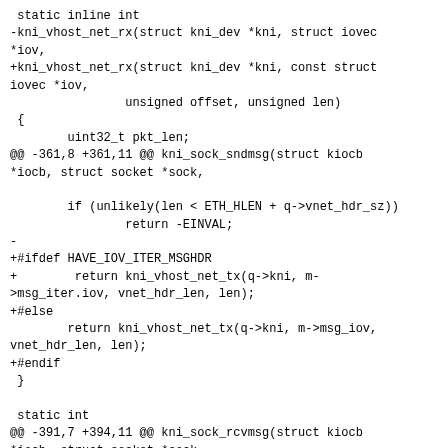static inline int
-kni_vhost_net_rx(struct kni_dev *kni, struct iovec
*iov,
+kni_vhost_net_rx(struct kni_dev *kni, const struct
iovec *iov,
                unsigned offset, unsigned len)
 {
        uint32_t pkt_len;
@@ -361,8 +361,11 @@ kni_sock_sndmsg(struct kiocb
*iocb, struct socket *sock,

        if (unlikely(len < ETH_HLEN + q->vnet_hdr_sz))
                return -EINVAL;
-
+#ifdef HAVE_IOV_ITER_MSGHDR
+        return kni_vhost_net_tx(q->kni, m-
>msg_iter.iov, vnet_hdr_len, len);
+#else
        return kni_vhost_net_tx(q->kni, m->msg_iov,
vnet_hdr_len, len);
+#endif
 }

 static int
@@ -391,7 +394,11 @@ kni_sock_rcvmsg(struct kiocb
*iocb, struct socket *sock,
 #endif

        if (unlikely(0 == (pkt_len =
kni_vhost_net_rx(q->kni,